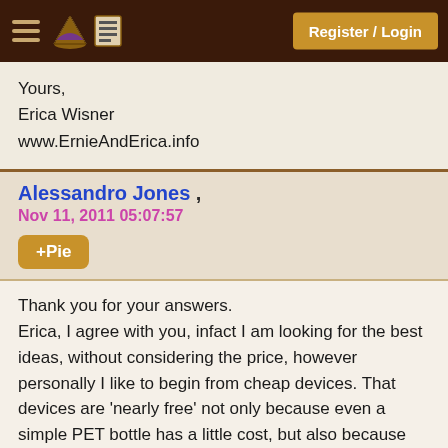Register / Login
Yours,
Erica Wisner
www.ErnieAndErica.info
Alessandro Jones , Nov 11, 2011 05:07:57
+Pie
Thank you for your answers. Erica, I agree with you, infact I am looking for the best ideas, without considering the price, however personally I like to begin from cheap devices. That devices are 'nearly free' not only because even a simple PET bottle has a little cost, but also because sometimes if you pay a little for a patent, or if you have to buy the materials, it is worth it. About chlorination, some chlorine compounds or some compounds that chlorination produces could be